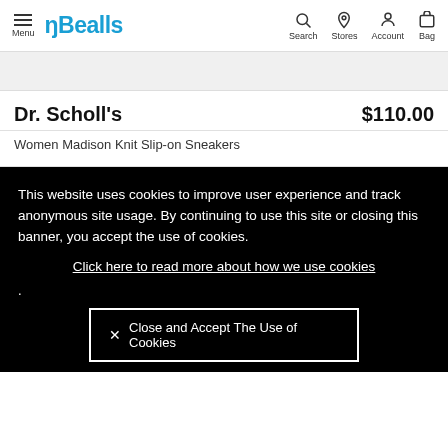Menu | Bealls | Search | Stores | Account | Bag
Dr. Scholl's $110.00
Women Madison Knit Slip-on Sneakers
This website uses cookies to improve user experience and track anonymous site usage. By continuing to use this site or closing this banner, you accept the use of cookies. Click here to read more about how we use cookies . Close and Accept The Use of Cookies